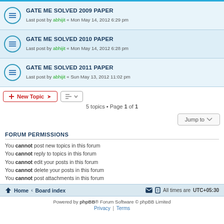GATE ME SOLVED 2009 PAPER — Last post by abhijit « Mon May 14, 2012 6:29 pm
GATE ME SOLVED 2010 PAPER — Last post by abhijit « Mon May 14, 2012 6:28 pm
GATE ME SOLVED 2011 PAPER — Last post by abhijit « Sun May 13, 2012 11:02 pm
5 topics • Page 1 of 1
FORUM PERMISSIONS
You cannot post new topics in this forum
You cannot reply to topics in this forum
You cannot edit your posts in this forum
You cannot delete your posts in this forum
You cannot post attachments in this forum
Home · Board index    All times are UTC+05:30
Powered by phpBB® Forum Software © phpBB Limited
Privacy | Terms